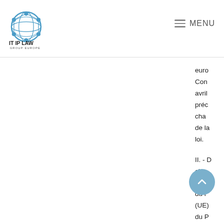IT IP LAW GROUP EUROPE — MENU
euro Con avril préc cha de la loi.
II. - cha d'ap du r (UE) du P euro Con avril préc sous resp con